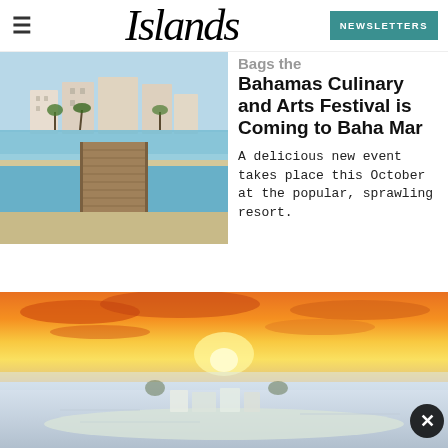Islands — NEWSLETTERS
[Figure (photo): Boardwalk pier leading to beach with large resort hotels in the background, Bahamas]
Bahamas Culinary and Arts Festival is Coming to Baha Mar
A delicious new event takes place this October at the popular, sprawling resort.
[Figure (photo): Aerial/wide view of a beach resort at sunset with vivid orange and yellow sky, white buildings visible below]